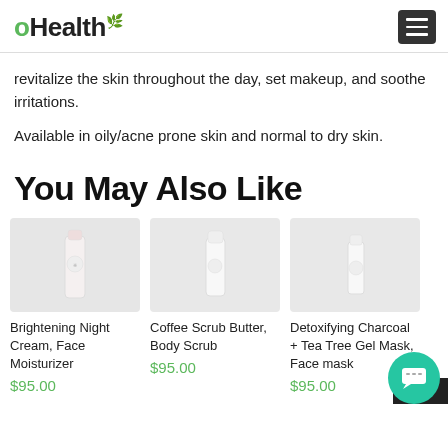oHealth
revitalize the skin throughout the day, set makeup, and soothe irritations.
Available in oily/acne prone skin and normal to dry skin.
You May Also Like
[Figure (photo): Product photo of Brightening Night Cream, Face Moisturizer — white/pink tube on grey background]
Brightening Night Cream, Face Moisturizer
$95.00
[Figure (photo): Product photo of Coffee Scrub Butter, Body Scrub — white tube on grey background]
Coffee Scrub Butter, Body Scrub
$95.00
[Figure (photo): Product photo of Detoxifying Charcoal + Tea Tree Gel Mask, Face mask — white bottle on grey background]
Detoxifying Charcoal + Tea Tree Gel Mask, Face mask
$95.00